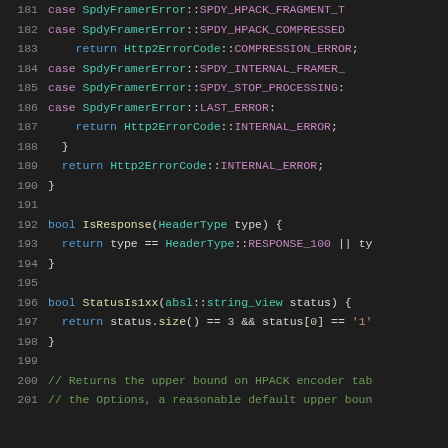[Figure (screenshot): Source code listing in a dark-themed IDE showing C++ code lines 181–201, featuring switch-case statements with SpdyFramerError and Http2ErrorCode enums, and function definitions IsResponse and StatusIs1xx.]